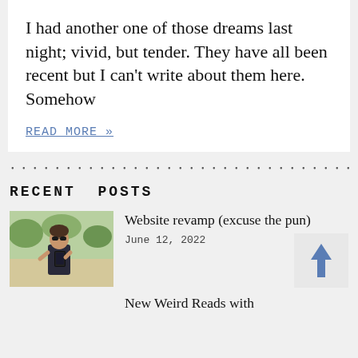I had another one of those dreams last night; vivid, but tender. They have all been recent but I can’t write about them here. Somehow
READ MORE »
RECENT POSTS
[Figure (photo): A person wearing sunglasses holding a black device/phone, standing outdoors with trees in background.]
Website revamp (excuse the pun)
June 12, 2022
New Weird Reads with